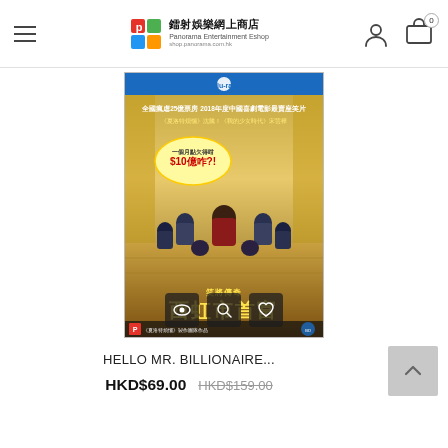panorama Entertainment eshop - shop.panorama.com.hk
[Figure (photo): Blu-ray DVD cover of 'Hello Mr. Billionaire' (西虹市首富), showing a group of young men around a central figure seated on a throne-like chair in a grand golden hall. Chinese text on cover reads: 全國瘋虐25億票房 2018年度中國喜劇電影最賣座笑片. Blu-ray logo at top. Panorama logo at bottom left.]
HELLO MR. BILLIONAIRE...
HKD$69.00  HKD$159.00